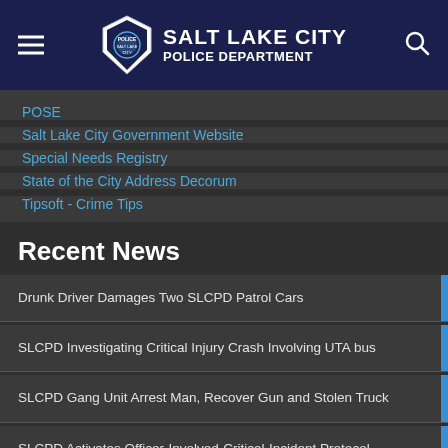SALT LAKE CITY POLICE DEPARTMENT
POSE
Salt Lake City Government Website
Special Needs Registry
State of the City Address Decorum
Tipsoft - Crime Tips
Recent News
Drunk Driver Damages Two SLCPD Patrol Cars
SLCPD Investigating Critical Injury Crash Involving UTA bus
SLCPD Gang Unit Arrest Man, Recover Gun and Stolen Truck
SLCPD Activates Officer-Involved-Critical-Incident Protocol